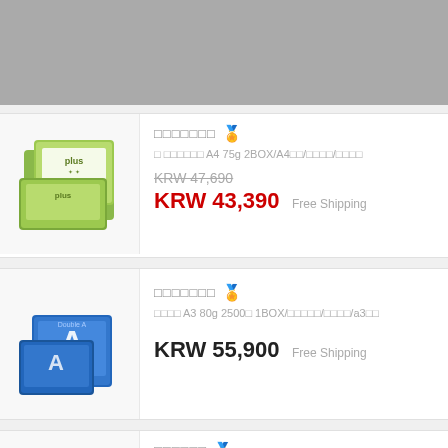[Figure (photo): Gray banner/header image at the top of the page]
[Figure (photo): Product photo: green box of A4 75g paper (plus brand), two boxes stacked]
□□□□□□□ [badge emoji]
□ □□□□□□ A4 75g 2BOX/A4□□/□□□□/□□□□
KRW 47,690 (strikethrough)
KRW 43,390   Free Shipping
[Figure (photo): Product photo: blue box of A3 80g paper (Double A brand)]
□□□□□□□ [badge emoji]
□□□□ A3 80g 2500□ 1BOX/□□□□□/□□□□/a3□□
KRW 55,900   Free Shipping
[Figure (photo): Product photo: set of brown cardboard boxes arranged in rows]
□□□□□□ [badge emoji]
□□□□□□□□(□□)□□□ □□□□
KRW 40,000 (strikethrough)